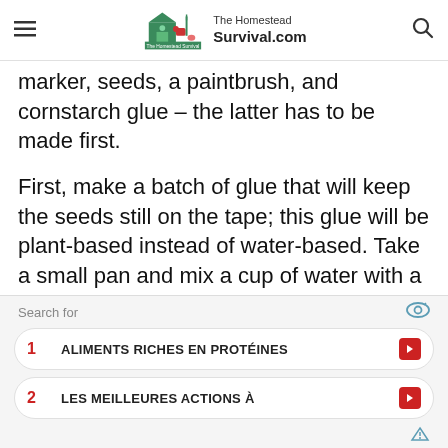The Homestead Survival.com
marker, seeds, a paintbrush, and cornstarch glue – the latter has to be made first.
First, make a batch of glue that will keep the seeds still on the tape; this glue will be plant-based instead of water-based. Take a small pan and mix a cup of water with a tablespoon of cornstarch. Heat the mixture over a medium heat, stir
[Figure (screenshot): Advertisement overlay with search bar label, two sponsored list items: 1. ALIMENTS RICHES EN PROTÉINES, 2. LES MEILLEURES ACTIONS À]